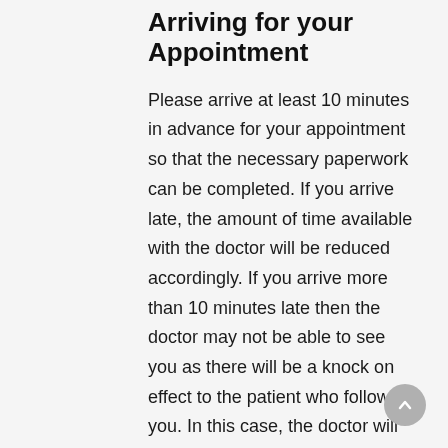Arriving for your Appointment
Please arrive at least 10 minutes in advance for your appointment so that the necessary paperwork can be completed. If you arrive late, the amount of time available with the doctor will be reduced accordingly. If you arrive more than 10 minutes late then the doctor may not be able to see you as there will be a knock on effect to the patient who follows you. In this case, the doctor will try to